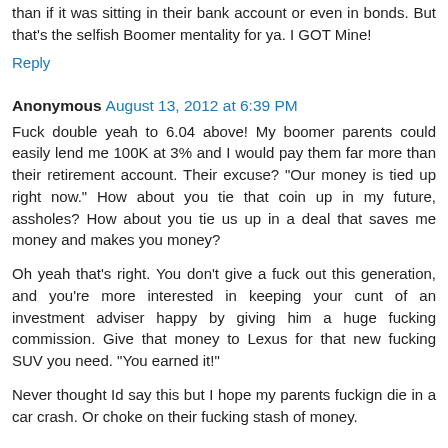than if it was sitting in their bank account or even in bonds. But that's the selfish Boomer mentality for ya. I GOT Mine!
Reply
Anonymous  August 13, 2012 at 6:39 PM
Fuck double yeah to 6.04 above! My boomer parents could easily lend me 100K at 3% and I would pay them far more than their retirement account. Their excuse? "Our money is tied up right now." How about you tie that coin up in my future, assholes? How about you tie us up in a deal that saves me money and makes you money?
Oh yeah that's right. You don't give a fuck out this generation, and you're more interested in keeping your cunt of an investment adviser happy by giving him a huge fucking commission. Give that money to Lexus for that new fucking SUV you need. "You earned it!"
Never thought Id say this but I hope my parents fuckign die in a car crash. Or choke on their fucking stash of money.